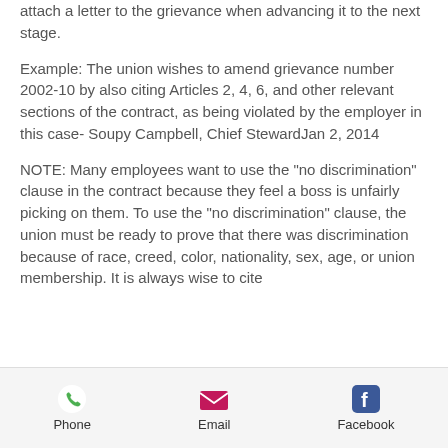attach a letter to the grievance when advancing it to the next stage.
Example: The union wishes to amend grievance number 2002-10 by also citing Articles 2, 4, 6, and other relevant sections of the contract, as being violated by the employer in this case- Soupy Campbell, Chief StewardJan 2, 2014
NOTE: Many employees want to use the “no discrimination” clause in the contract because they feel a boss is unfairly picking on them. To use the “no discrimination” clause, the union must be ready to prove that there was discrimination because of race, creed, color, nationality, sex, age, or union membership. It is always wise to cite
Phone   Email   Facebook